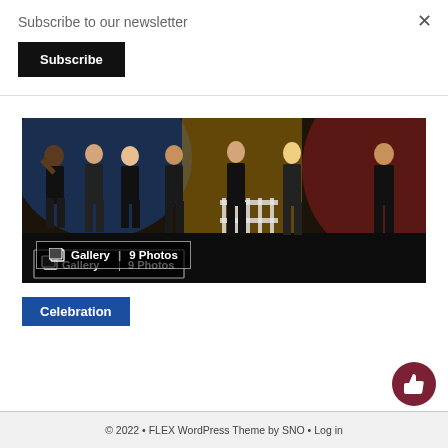Subscribe to our newsletter
Subscribe
[Figure (photo): Seven performers dressed in black on a stage with colorful lighting backdrop (blue, yellow, red). A gallery badge at the bottom left reads: Gallery | 9 Photos.]
Gallery | 9 Photos
Celebration
© 2022 • FLEX WordPress Theme by SNO • Log in